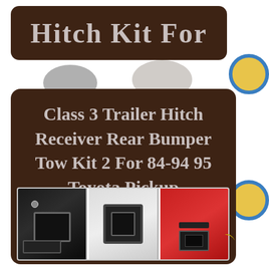Hitch Kit For
Class 3 Trailer Hitch Receiver Rear Bumper Tow Kit 2 For 84-94 95 Toyota Pickup
[Figure (photo): Three product photos showing a Class 3 trailer hitch receiver: left panel shows black metal hitch bracket with bolts, center panel shows the receiver tube opening, right panel shows the hitch mounted on a red vehicle bumper with a cotter pin.]